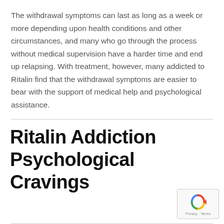The withdrawal symptoms can last as long as a week or more depending upon health conditions and other circumstances, and many who go through the process without medical supervision have a harder time and end up relapsing. With treatment, however, many addicted to Ritalin find that the withdrawal symptoms are easier to bear with the support of medical help and psychological assistance.
Ritalin Addiction Psychological Cravings